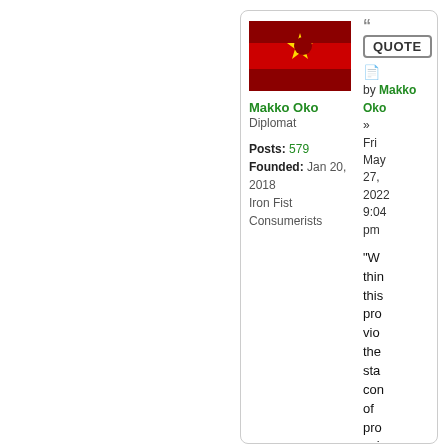[Figure (illustration): Flag image: dark red/maroon background with a bright red horizontal stripe in the middle and a yellow sun/star shape with a crescent cutout in the center.]
Makko Oko
Diplomat
Posts: 579
Founded: Jan 20, 2018
Iron Fist Consumerists
QUOTE
by Makko Oko » Fri May 27, 2022 9:04 pm
"W thin this pro vio the sta con of pro wri wit no nu or